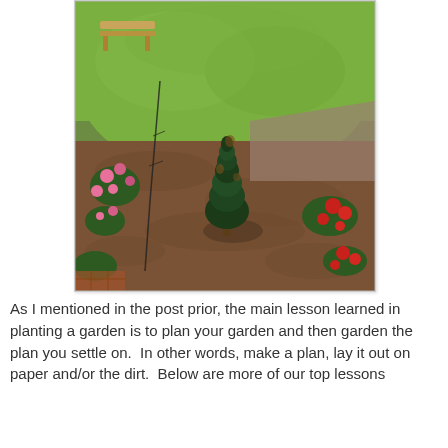[Figure (photo): Outdoor garden photo showing a small evergreen/magnolia tree planted in a mulched bed, with green lawn in the background, pink and red roses or flowering plants on the sides, and a wooden bench visible in the upper left. View is from above looking down at an angle.]
As I mentioned in the post prior, the main lesson learned in planting a garden is to plan your garden and then garden the plan you settle on.  In other words, make a plan, lay it out on paper and/or the dirt.  Below are more of our top lessons